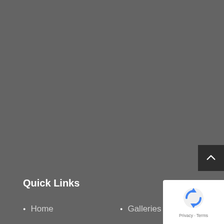[Figure (other): Gray background area filling most of the page, with a dark back-to-top button (chevron up arrow) at the right side]
Quick Links
Home
Galleries
[Figure (logo): Google reCAPTCHA badge with blue recycling arrow logo and Privacy - Terms text]